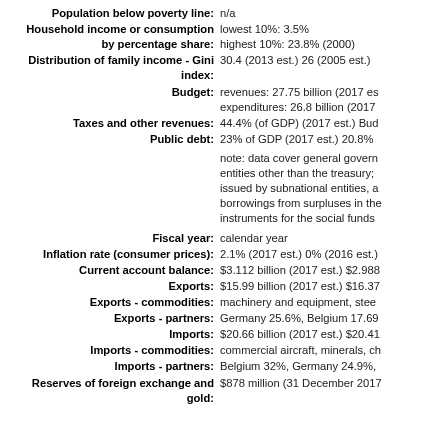Population below poverty line: n/a
Household income or consumption by percentage share: lowest 10%: 3.5% highest 10%: 23.8% (2000)
Distribution of family income - Gini index: 30.4 (2013 est.) 26 (2005 est.)
Budget: revenues: 27.75 billion (2017 est.) expenditures: 26.8 billion (2017 est.)
Taxes and other revenues: 44.4% (of GDP) (2017 est.) Budget...
Public debt: 23% of GDP (2017 est.) 20.8% ...
note: data cover general government entities other than the treasury; issued by subnational entities, a borrowings from surpluses in the instruments for the social funds
Fiscal year: calendar year
Inflation rate (consumer prices): 2.1% (2017 est.) 0% (2016 est.)
Current account balance: $3.112 billion (2017 est.) $2.988...
Exports: $15.99 billion (2017 est.) $16.37...
Exports - commodities: machinery and equipment, stee...
Exports - partners: Germany 25.6%, Belgium 17.69%...
Imports: $20.66 billion (2017 est.) $20.41...
Imports - commodities: commercial aircraft, minerals, ch...
Imports - partners: Belgium 32%, Germany 24.9%,...
Reserves of foreign exchange and gold: $878 million (31 December 2017...